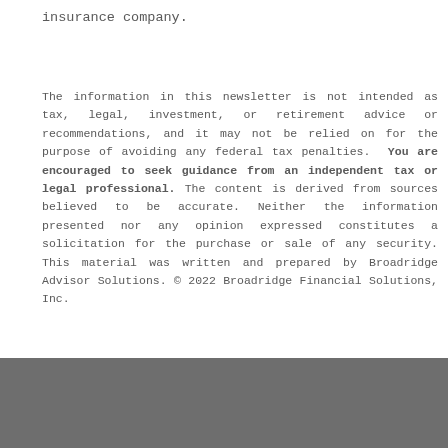insurance company.
The information in this newsletter is not intended as tax, legal, investment, or retirement advice or recommendations, and it may not be relied on for the purpose of avoiding any federal tax penalties. You are encouraged to seek guidance from an independent tax or legal professional. The content is derived from sources believed to be accurate. Neither the information presented nor any opinion expressed constitutes a solicitation for the purchase or sale of any security. This material was written and prepared by Broadridge Advisor Solutions. © 2022 Broadridge Financial Solutions, Inc.